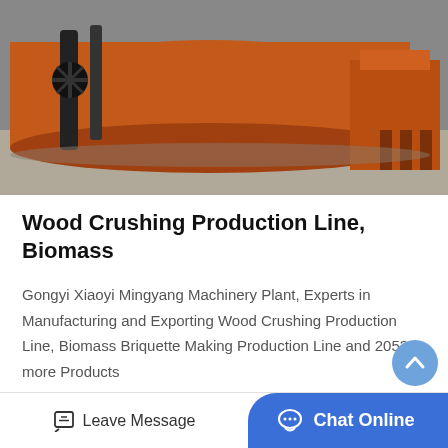[Figure (photo): Orange industrial wood crushing / biomass production line machinery on a concrete floor, showing a large cylindrical crusher body and associated heavy equipment components]
Wood Crushing Production Line, Biomass
Gongyi Xiaoyi Mingyang Machinery Plant, Experts in Manufacturing and Exporting Wood Crushing Production Line, Biomass Briquette Making Production Line and 2053 more Products
[Figure (other): Get Price button — blue rounded rectangle]
[Figure (photo): Partial view of orange industrial machinery against a light blue background, bottom of page]
[Figure (other): Scroll-to-top circular button (blue chevron up arrow)]
Leave Message
Chat Online